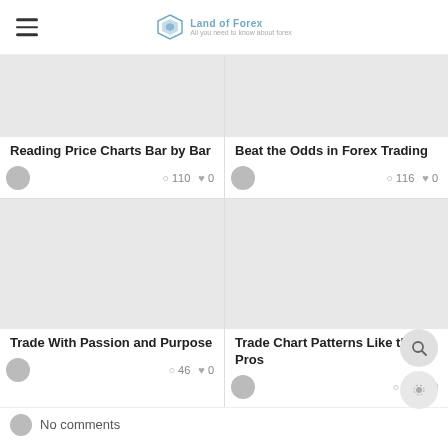Land of Forex — All you need to know about forex
[Figure (screenshot): Thumbnail image placeholder for 'Reading Price Charts Bar by Bar' article]
Reading Price Charts Bar by Bar
👁 110  ♥ 0
[Figure (screenshot): Thumbnail image placeholder for 'Beat the Odds in Forex Trading' article]
Beat the Odds in Forex Trading
👁 116  ♥ 0
[Figure (screenshot): Thumbnail image placeholder for 'Trade With Passion and Purpose' article]
Trade With Passion and Purpose
👁 46  ♥ 0
[Figure (screenshot): Thumbnail image placeholder for 'Trade Chart Patterns Like the Pros' article]
Trade Chart Patterns Like the Pros
👁 43  ♥ 0
No comments